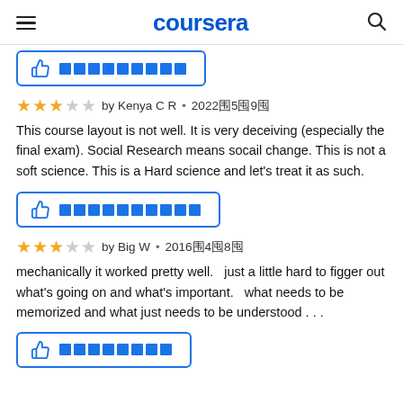coursera
[Figure (other): Thumbs up button with redacted text (blue outlined button)]
by Kenya C R • 2022年5月9日
This course layout is not well. It is very deceiving (especially the final exam). Social Research means socail change. This is not a soft science. This is a Hard science and let's treat it as such.
[Figure (other): Thumbs up button with redacted text (blue outlined button)]
by Big W • 2016年4月8日
mechanically it worked pretty well.   just a little hard to figger out what's going on and what's important.   what needs to be memorized and what just needs to be understood . . .
[Figure (other): Thumbs up button with redacted text (blue outlined button, partially visible)]